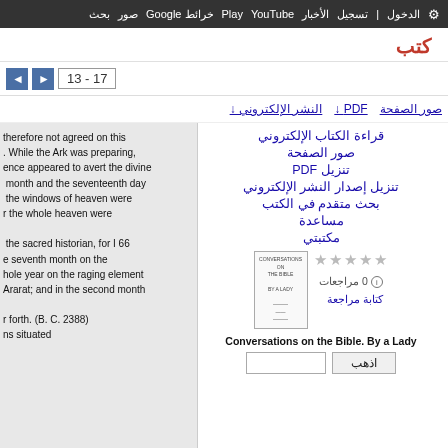بحث صور خرائط Google Play YouTube الأخبار تسجيل الدخول الإعدادات
كتب
13 - 17
صور الصفحة   PDF ↓   النشر الإلكتروني ↓
therefore not agreed on this
. While the Ark was preparing,
ence appeared to avert the divine
month and the seventeenth day
the windows of heaven were
r the whole heaven were

the sacred historian, for I 66
e seventh month on the
hole year on the raging element
Ararat; and in the second month

r forth. (B. C. 2388)
ns situated
قراءة الكتاب الإلكتروني
صور الصفحة
تنزيل PDF
تنزيل إصدار النشر الإلكتروني
بحث متقدم في الكتب
مساعدة
مكتبتي
[Figure (illustration): Thumbnail of book cover for Conversations on the Bible by a Lady]
0 مراجعات
كتابة مراجعة
Conversations on the Bible. By a Lady
اذهب